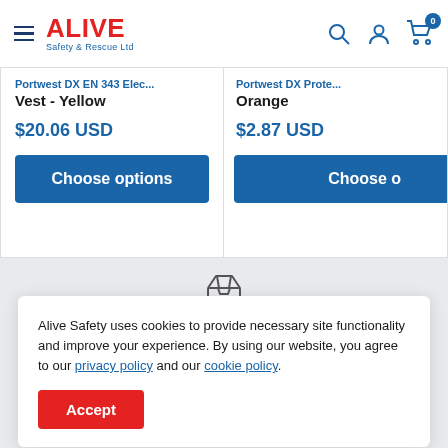[Figure (logo): ALIVE Safety & Rescue Ltd logo in red bold text with blue subtitle, hamburger menu icon on left, search, account and cart icons on right]
Vest - Yellow
$20.06 USD
Choose options
Orange
$2.87 USD
Choose o
Alive Safety uses cookies to provide necessary site functionality and improve your experience. By using our website, you agree to our privacy policy and our cookie policy.
Accept